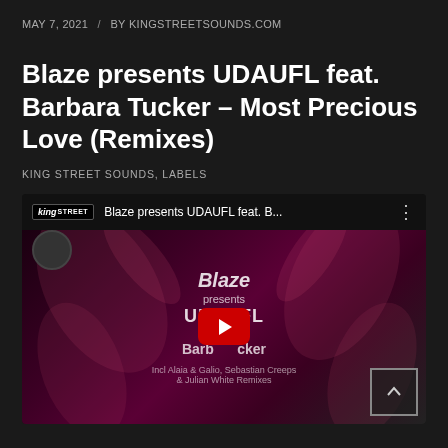MAY 7, 2021 / BY KINGSTREETSOUNDS.COM
Blaze presents UDAUFL feat. Barbara Tucker – Most Precious Love (Remixes)
KING STREET SOUNDS, LABELS
[Figure (screenshot): YouTube video embed showing 'Blaze presents UDAUFL feat. B...' with a dark red/purple thumbnail displaying text: Blaze presents UDAUFL feat. Barbara Tucker Most Precious Love (Remixes). Incl Alaia & Galio, Sebastian Creeps & Julian White Remixes. A red YouTube play button is centered on the thumbnail.]